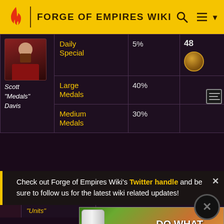FORGE OF EMPIRES WIKI
| Person | Type | Chance | Amount |
| --- | --- | --- | --- |
| Scott "Medals" Davis | Daily Special | 5% | 48 |
| Scott "Medals" Davis | Large Medals | 40% |  |
| Scott "Medals" Davis | Medium Medals | 30% |  |
Check out Forge of Empires Wiki's Twitter handle and be sure to follow us for the latest wiki related updates!
"Units"  Special
[Figure (screenshot): Bacardi advertisement: DO WHAT MOVES YOU with SHOP NOW button]